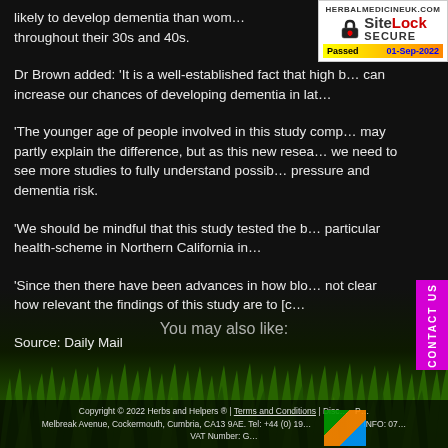likely to develop dementia than wom... throughout their 30s and 40s.
[Figure (other): SiteLock SECURE badge - HERBALMEDICINEUK.COM, Passed 01-Sep-2022]
Dr Brown added: 'It is a well-established fact that high b... can increase our chances of developing dementia in lat...
'The younger age of people involved in this study comp... may partly explain the difference, but as this new resea... we need to see more studies to fully understand possib... pressure and dementia risk.
[Figure (other): CONTACT US vertical pink/magenta tab on right side]
'We should be mindful that this study tested the b... particular health-scheme in Northern California in...
'Since then there have been advances in how blo... not clear how relevant the findings of this study are to [c...
Source: Daily Mail
You may also like:
Copyright © 2022 Herbs and Helpers ® | Terms and Conditions | Disc... Melbreak Avenue, Cockermouth, Cumbria, CA13 9AE. Tel: +44 (0) 19... VAT Number: G...